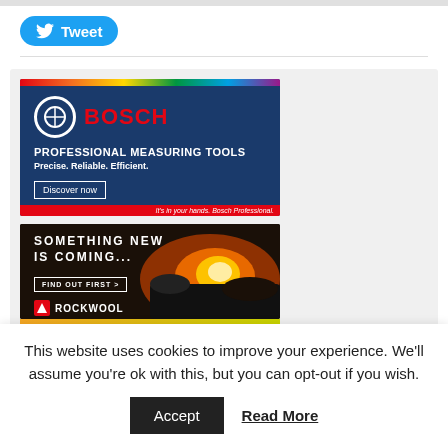[Figure (screenshot): Twitter/X Tweet button — blue rounded rectangle with bird icon and 'Tweet' text]
[Figure (screenshot): Bosch Professional Measuring Tools advertisement — dark blue background with rainbow bar, Bosch logo, tagline 'Precise. Reliable. Efficient.' and 'Discover now' button]
[Figure (screenshot): Rockwool advertisement — dark background with lava/fire image, text 'SOMETHING NEW IS COMING...', 'FIND OUT FIRST >' button, Rockwool logo]
[Figure (screenshot): Partial bottom advertisement strip with yellow-green gradient]
This website uses cookies to improve your experience. We'll assume you're ok with this, but you can opt-out if you wish.
Accept   Read More